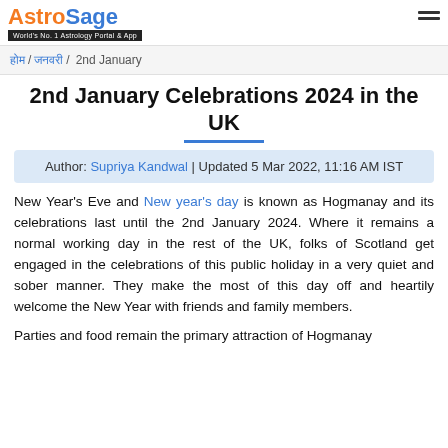AstroSage - World's No. 1 Astrology Portal & App
होम / जनवरी / 2nd January
2nd January Celebrations 2024 in the UK
Author: Supriya Kandwal | Updated 5 Mar 2022, 11:16 AM IST
New Year's Eve and New year's day is known as Hogmanay and its celebrations last until the 2nd January 2024. Where it remains a normal working day in the rest of the UK, folks of Scotland get engaged in the celebrations of this public holiday in a very quiet and sober manner. They make the most of this day off and heartily welcome the New Year with friends and family members.
Parties and food remain the primary attraction of Hogmanay